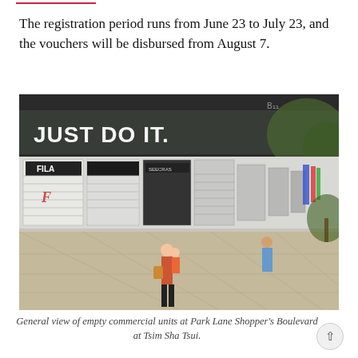The registration period runs from June 23 to July 23, and the vouchers will be disbursed from August 7.
[Figure (photo): General view of empty commercial units with rolling shutters at Park Lane Shopper's Boulevard at Tsim Sha Tsui. A Nike 'Just Do It' sign is visible above the storefronts. A few pedestrians walk along the empty boulevard.]
General view of empty commercial units at Park Lane Shopper's Boulevard at Tsim Sha Tsui.